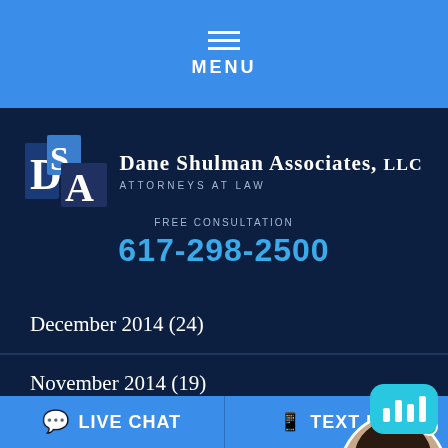MENU
[Figure (logo): Dane Shulman Associates LLC logo with DSA initials and firm name]
FREE CONSULTATION
617-298-2500
December 2014 (24)
November 2014 (19)
October 2014 (23)
September 2014 (20)
LIVE CHAT   TEXT US